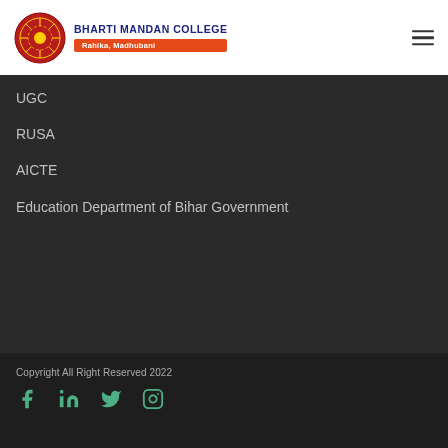BHARTI MANDAN COLLEGE Rahika, Madhubani
UGC
RUSA
AICTE
Education Department of Bihar Government
Copyright All Right Reserved 2022